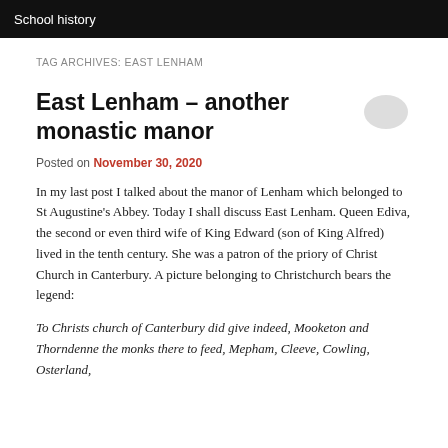School history
TAG ARCHIVES: EAST LENHAM
East Lenham – another monastic manor
Posted on November 30, 2020
In my last post I talked about the manor of Lenham which belonged to St Augustine's Abbey. Today I shall discuss East Lenham. Queen Ediva, the second or even third wife of King Edward (son of King Alfred) lived in the tenth century. She was a patron of the priory of Christ Church in Canterbury. A picture belonging to Christchurch bears the legend:
To Christs church of Canterbury did give indeed, Mooketon and Thorndenne the monks there to feed, Mepham, Cleeve, Cowling, Osterland,